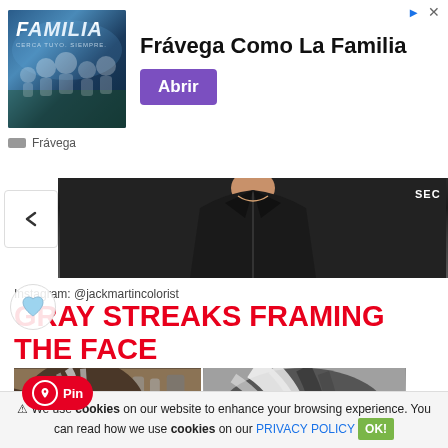[Figure (advertisement): Frávega 'Como La Familia' ad banner with group photo and purple 'Abrir' button]
[Figure (photo): Partial photo of a woman in black jacket, upper body, with SEC logo visible]
Instagram: @jackmartincolorist
GRAY STREAKS FRAMING THE FACE
[Figure (photo): Before and after split photo showing gray streaks framing the face hairstyle, with Pinterest Pin badge overlay]
⚠ We use cookies on our website to enhance your browsing experience. You can read how we use cookies on our PRIVACY POLICY OK!